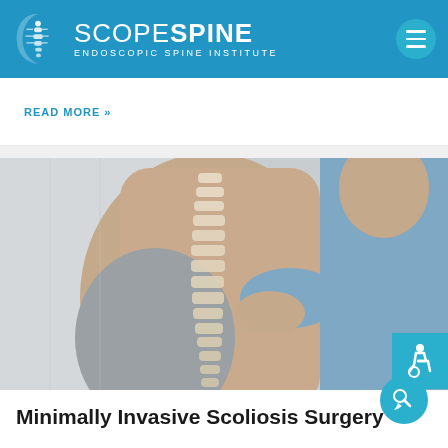[Figure (logo): Scope Spine Endoscopic Spine Institute logo with spine graphic icon on blue header background]
READ MORE »
[Figure (photo): Medical photo showing a patient's back with an illustrated spine overlay and a doctor's hands examining the patient. Chat popup overlay reads: Any questions? We can help.]
Minimally Invasive Scoliosis Surgery